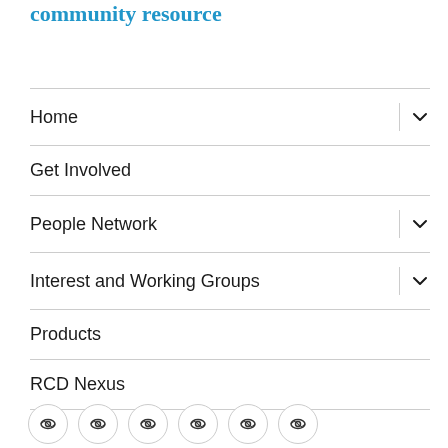community resource
Home
Get Involved
People Network
Interest and Working Groups
Products
RCD Nexus
[Figure (infographic): Row of 6 circular social media icon buttons with a generic eye/link icon]